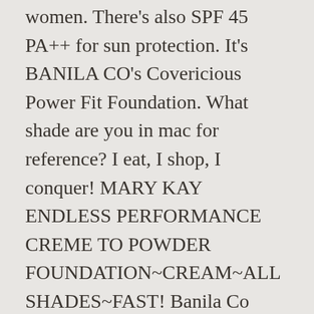women. There's also SPF 45 PA++ for sun protection. It's BANILA CO's Covericious Power Fit Foundation. What shade are you in mac for reference? I eat, I shop, I conquer! MARY KAY ENDLESS PERFORMANCE CREME TO POWDER FOUNDATION~CREAM~ALL SHADES~FAST! Banila Co [BANILA CO] Covericious Power Fit Foundation – 30ml. This foundation covers just about everything from blemishes to scars. 5 out of 5 stars (22) 22 product ratings - Elizabeth Arden Flawless Finish Sponge-On Cream Makeup Shade Ecru 53 New In Box. Light and thin perfect cover! Retail Price US$38.80 Price Open to resellers only. It features lightweight cover-to-fit technology that stays for up to 36 hours.